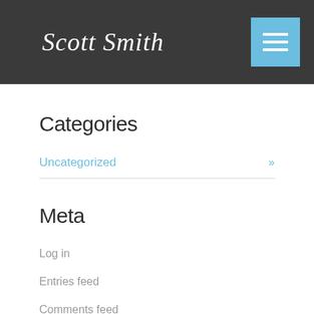Scott Smith
Categories
Uncategorized »
Meta
Log in
Entries feed
Comments feed